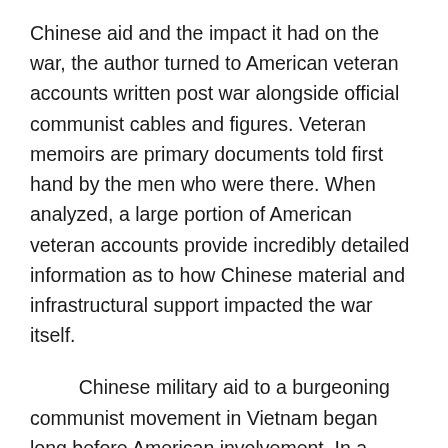Chinese aid and the impact it had on the war, the author turned to American veteran accounts written post war alongside official communist cables and figures. Veteran memoirs are primary documents told first hand by the men who were there. When analyzed, a large portion of American veteran accounts provide incredibly detailed information as to how Chinese material and infrastructural support impacted the war itself.
Chinese military aid to a burgeoning communist movement in Vietnam began long before American involvement. In a message Chairman Mao and Zhou Enlai sent to Ho Chi Minh in North Vietnam articulates the desire the Chinese fostered to support war:
“Please convey our greetings to Comrade Ho Chi Minh… We sincerely congratulate Vietnam’s joining the anti-imperialist